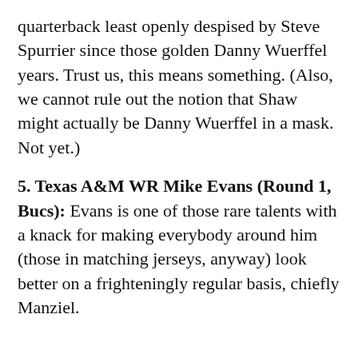quarterback least openly despised by Steve Spurrier since those golden Danny Wuerffel years. Trust us, this means something. (Also, we cannot rule out the notion that Shaw might actually be Danny Wuerffel in a mask. Not yet.)
5. Texas A&M WR Mike Evans (Round 1, Bucs): Evans is one of those rare talents with a knack for making everybody around him (those in matching jerseys, anyway) look better on a frighteningly regular basis, chiefly Manziel.